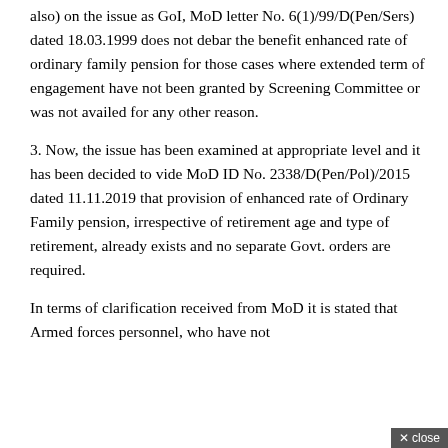also) on the issue as GoI, MoD letter No. 6(1)/99/D(Pen/Sers) dated 18.03.1999 does not debar the benefit enhanced rate of ordinary family pension for those cases where extended term of engagement have not been granted by Screening Committee or was not availed for any other reason.
3. Now, the issue has been examined at appropriate level and it has been decided to vide MoD ID No. 2338/D(Pen/Pol)/2015 dated 11.11.2019 that provision of enhanced rate of Ordinary Family pension, irrespective of retirement age and type of retirement, already exists and no separate Govt. orders are required.
In terms of clarification received from MoD it is stated that Armed forces personnel, who have not